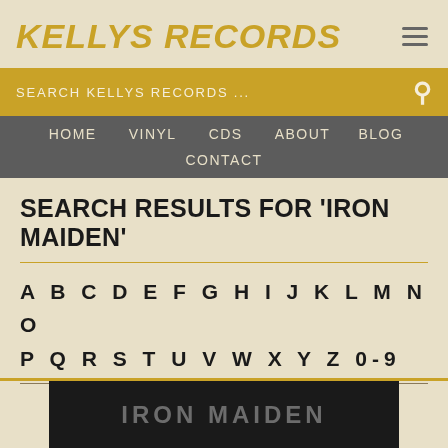KELLYS RECORDS
SEARCH KELLYS RECORDS ...
HOME   VINYL   CDS   ABOUT   BLOG   CONTACT
SEARCH RESULTS FOR 'IRON MAIDEN'
A B C D E F G H I J K L M N O P Q R S T U V W X Y Z 0-9
[Figure (photo): Iron Maiden album cover image strip at bottom of page]